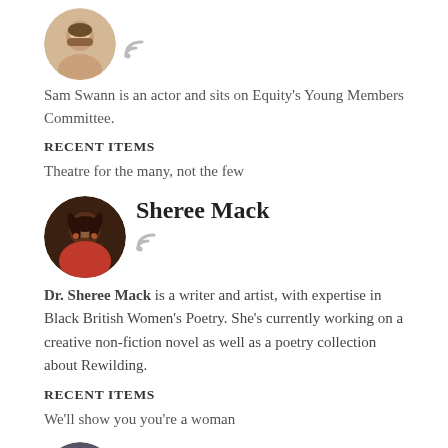[Figure (photo): Circular avatar photo of Sam Swann (man with beard), with RSS icon below]
Sam Swann is an actor and sits on Equity's Young Members Committee.
RECENT ITEMS
Theatre for the many, not the few
[Figure (photo): Circular avatar photo of Sheree Mack (woman with locs, red top), with RSS icon below]
Sheree Mack
Dr. Sheree Mack is a writer and artist, with expertise in Black British Women's Poetry. She's currently working on a creative non-fiction novel as well as a poetry collection about Rewilding.
RECENT ITEMS
We'll show you you're a woman
[Figure (photo): Circular avatar photo of Bianca Idelson (partial, bottom of page)]
Bianca Idelson